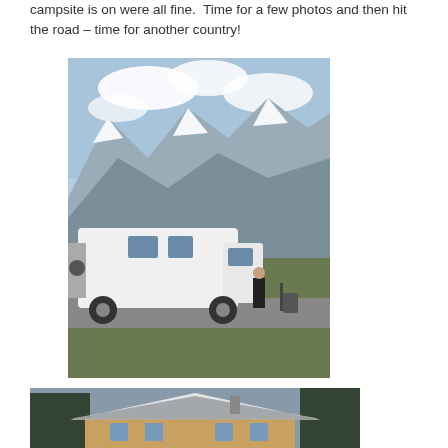campsite is on were all fine.  Time for a few photos and then hit the road – time for another country!
[Figure (photo): A white motorhome/campervan parked in front of snow-capped mountains. A person stands beside the vehicle. Green fields and a road are visible in the background.]
[Figure (photo): A wooden chalet or cabin with a snow-dusted roof surrounded by trees and forest in winter.]